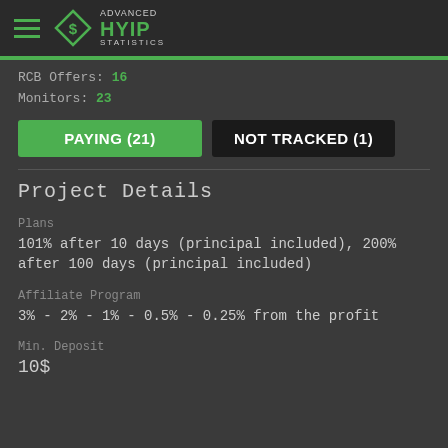Advanced HYIP Statistics
RCB Offers: 16
Monitors: 23
PAYING (21)   NOT TRACKED (1)
Project Details
Plans
101% after 10 days (principal included), 200% after 100 days (principal included)
Affiliate Program
3% - 2% - 1% - 0.5% - 0.25% from the profit
Min. Deposit
10$